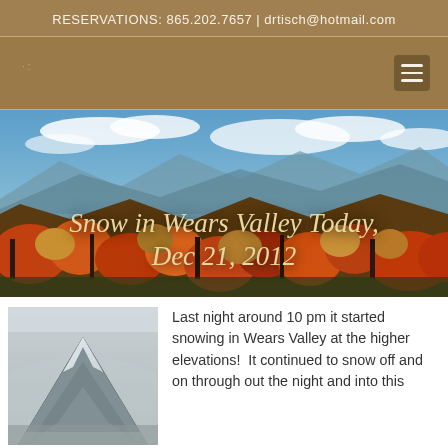RESERVATIONS: 865.202.7657 | drtisch@hotmail.com
[Figure (photo): Autumn mountain landscape with orange and red foliage beneath a blue sky with clouds, serving as a hero banner image. Text overlay reads 'Snow in Wears Valley Today, Dec 21, 2012']
Snow in Wears Valley Today, Dec 21, 2012
[Figure (photo): Snow-dusted mountain peak in misty grey conditions, viewed from a distance through fog]
Last night around 10 pm it started snowing in Wears Valley at the higher elevations!  It continued to snow off and on through out the night and into this